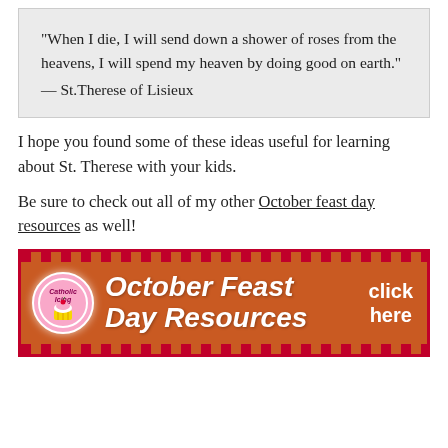“When I die, I will send down a shower of roses from the heavens, I will spend my heaven by doing good on earth.” — St.Therese of Lisieux
I hope you found some of these ideas useful for learning about St. Therese with your kids.
Be sure to check out all of my other October feast day resources as well!
[Figure (illustration): Orange banner advertisement for October Feast Day Resources from Catholic Icing, featuring a cupcake logo on the left, bold italic white text in the center reading 'October Feast Day Resources', and 'click here' text on the right. The banner has a dark red polka-dot border pattern.]